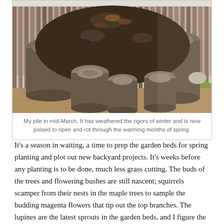[Figure (photo): Outdoor photograph of a compost pile surrounded by tree stumps in mid-March. The pile is large and dark, made of decomposing organic matter, with several weathered tree stumps of varying sizes around it. The background shows a wooden fence and a patch of green grass to the right. The ground is covered with wood chips and debris.]
My pile in mid-March. It has weathered the rigors of winter and is now poised to ripen and rot through the warming months of spring.
It's a season in waiting, a time to prep the garden beds for spring planting and plot out new backyard projects. It's weeks before any planting is to be done, much less grass cutting. The buds of the trees and flowering bushes are still nascent; squirrels scamper from their nests in the maple trees to sample the budding magenta flowers that tip out the top branches. The lupines are the latest sprouts in the garden beds, and I figure the fiddleheads are the next to unfold. The cardinals are